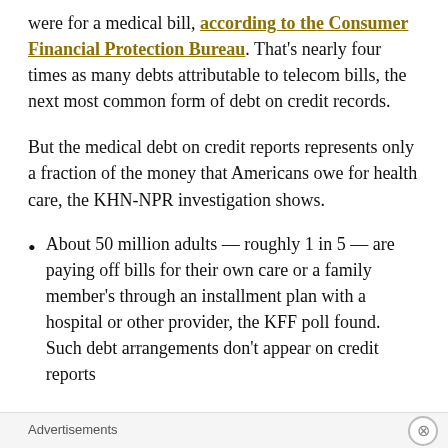were for a medical bill, according to the Consumer Financial Protection Bureau. That's nearly four times as many debts attributable to telecom bills, the next most common form of debt on credit records.
But the medical debt on credit reports represents only a fraction of the money that Americans owe for health care, the KHN-NPR investigation shows.
About 50 million adults — roughly 1 in 5 — are paying off bills for their own care or a family member's through an installment plan with a hospital or other provider, the KFF poll found. Such debt arrangements don't appear on credit reports
Advertisements